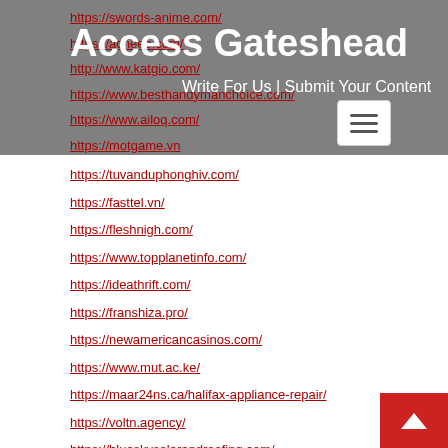Access Gateshead — Write For Us | Submit Your Content
https://swords-anime.com/
https://acneee.com/
http://www.katgio.com/
https://www.besthandymanchoice.com/
https://www.ailoq.com/
https://motgame.vn
https://tuvanduphonghiv.com/
https://fasttel.vn/
https://fleshnigh.com/
https://www.topplanetinfo.com/
https://ideathrift.com/
https://franshiza.pro/
https://newamericancasinos.com/
https://www.mut.ac.ke/
https://maar24ns.ca/halifax-appliance-repair/
https://voltn.agency/
https://blueskysolarandroofing.com/
https://verify-365.com/